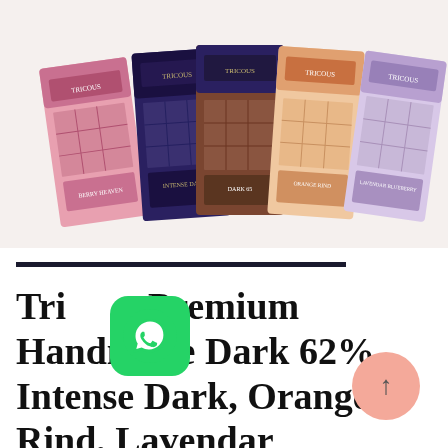[Figure (photo): Five Tricous premium chocolate bar boxes arranged in a fan/spread display, showing different flavors: Berry Heaven (pink), Intense Dark (dark navy/brown), Dark 65% (brown), Orange Rind (peach/orange), and Lavendar Blueberry (lavender/pink). Each box has illustrated building/architecture artwork on it.]
Tricous Premium Handmade Dark 62%, Intense Dark, Orange Rind, Lavendar Blueberry, Berry Heaven, Cappucino, Masala Chai, Nuts Overload, Seasalt Caramel And Chocolat Au Caramel Chocolate Bar-